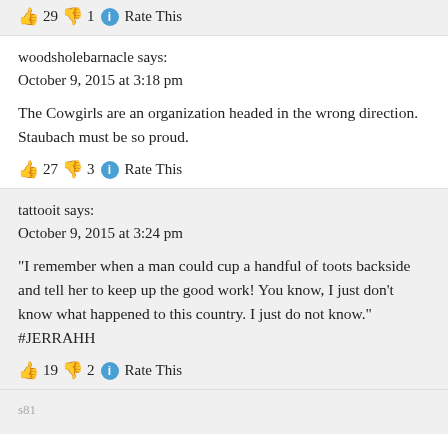👍 29 👎 1 ℹ Rate This
woodsholebarnacle says:
October 9, 2015 at 3:18 pm
The Cowgirls are an organization headed in the wrong direction. Staubach must be so proud.
👍 27 👎 3 ℹ Rate This
tattooit says:
October 9, 2015 at 3:24 pm
“I remember when a man could cup a handful of toots backside and tell her to keep up the good work! You know, I just don’t know what happened to this country. I just do not know.” #JERRAHH
👍 19 👎 2 ℹ Rate This